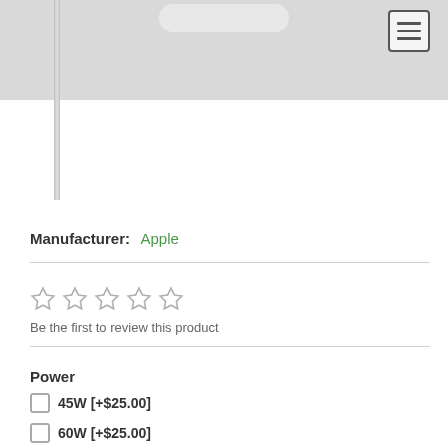[Figure (screenshot): Top gray navigation bar with rounded pill/tab shape at top center, hamburger menu button at top right, and a vertical cable element on the left side]
Manufacturer: Apple
☆ ☆ ☆ ☆ ☆
Be the first to review this product
Power
☐ 45W [+$25.00]
☐ 60W [+$25.00]
☐ 85W [+$25.00]